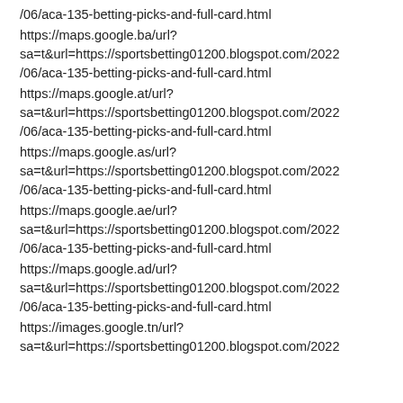/06/aca-135-betting-picks-and-full-card.html
https://maps.google.ba/url?sa=t&url=https://sportsbetting01200.blogspot.com/2022/06/aca-135-betting-picks-and-full-card.html
https://maps.google.at/url?sa=t&url=https://sportsbetting01200.blogspot.com/2022/06/aca-135-betting-picks-and-full-card.html
https://maps.google.as/url?sa=t&url=https://sportsbetting01200.blogspot.com/2022/06/aca-135-betting-picks-and-full-card.html
https://maps.google.ae/url?sa=t&url=https://sportsbetting01200.blogspot.com/2022/06/aca-135-betting-picks-and-full-card.html
https://maps.google.ad/url?sa=t&url=https://sportsbetting01200.blogspot.com/2022/06/aca-135-betting-picks-and-full-card.html
https://images.google.tn/url?sa=t&url=https://sportsbetting01200.blogspot.com/2022